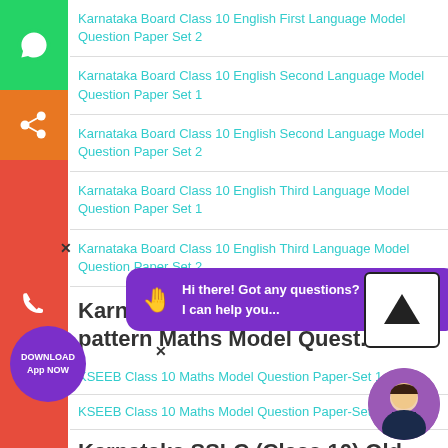Karnataka Board Class 10 English First Language Model Question Paper Set 2
Karnataka Board Class 10 English Second Language Model Question Paper Set 1
Karnataka Board Class 10 English Second Language Model Question Paper Set 2
Karnataka Board Class 10 English Third Language Model Question Paper Set 1
Karnataka Board Class 10 English Third Language Model Question Paper Set 2
Karnataka SSLC (Class 10) Old pattern Maths Model Quest...
KSEEB Class 10 Maths Model Question Paper-Set 1
KSEEB Class 10 Maths Model Question Paper-Set 2
Karnataka SSLC (Class 10) Old Pattern Science Model Question P...